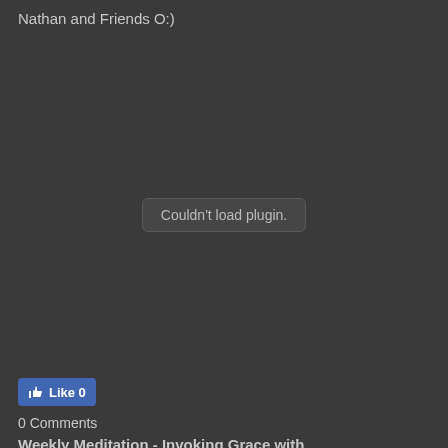Nathan and Friends O:)
[Figure (screenshot): Dark gray plugin area with 'Couldn't load plugin.' message in a rounded rectangle overlay in the center]
[Figure (other): Facebook Like button showing thumbs up icon and count 0]
0 Comments
Weekly Meditation - Invoking Grace with